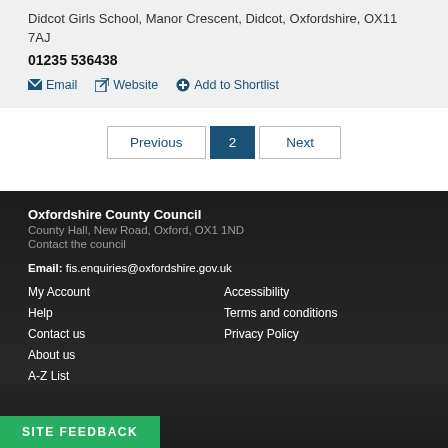Didcot Girls School, Manor Crescent, Didcot, Oxfordshire, OX11 7AJ
01235 536438
Email   Website   Add to Shortlist
Previous  2  Next
Oxfordshire County Council
County Hall, New Road, Oxford, OX1 1ND
Contact the council
Email: fis.enquiries@oxfordshire.gov.uk
My Account
Accessibility
Help
Terms and conditions
Contact us
Privacy Policy
About us
A-Z List
Site feedback